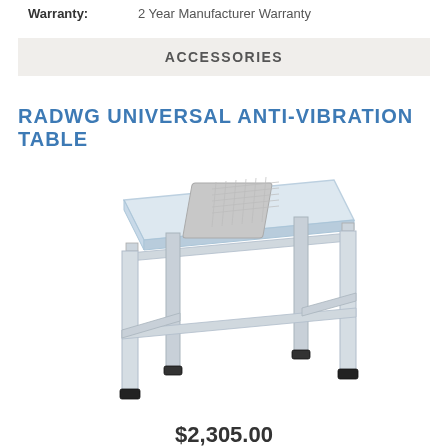Warranty: 2 Year Manufacturer Warranty
ACCESSORIES
RADWG UNIVERSAL ANTI-VIBRATION TABLE
[Figure (photo): Photo of a white metal anti-vibration table with four legs, cross-bar frame, and a light blue top surface with a textured square pad in the center.]
$2,305.00